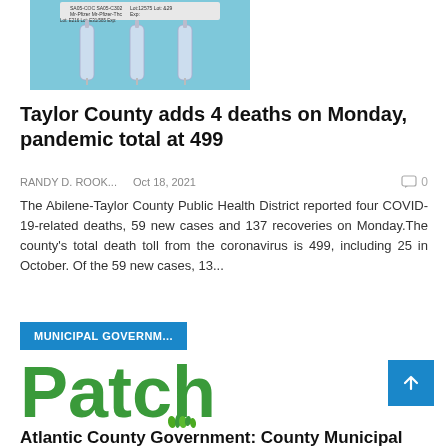[Figure (photo): Three syringes with vaccine vials on a blue tray, with printed labels visible]
Taylor County adds 4 deaths on Monday, pandemic total at 499
RANDY D. ROOK...   Oct 18, 2021   0
The Abilene-Taylor County Public Health District reported four COVID-19-related deaths, 59 new cases and 137 recoveries on Monday.The county's total death toll from the coronavirus is 499, including 25 in October. Of the 59 new cases, 13...
MUNICIPAL GOVERNM...
[Figure (logo): Patch logo in green with grass illustration at the bottom of the letter h]
Atlantic County Government: County Municipal